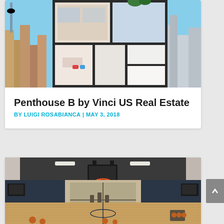[Figure (photo): Penthouse B architectural collage showing multiple rooms of a luxury penthouse with city skyline backgrounds on both sides]
Penthouse B by Vinci US Real Estate
BY LUIGI ROSABIANCA | MAY 3, 2018
[Figure (photo): Indoor basketball court with hardwood floors, navy blue walls, basketball hoops, and large windows at the far end]